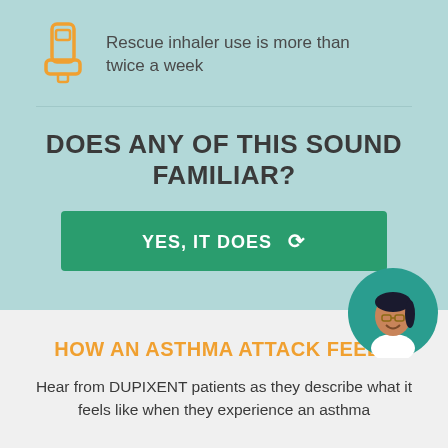Rescue inhaler use is more than twice a week
DOES ANY OF THIS SOUND FAMILIAR?
YES, IT DOES
[Figure (illustration): Cartoon avatar of a woman with dark hair and glasses on a teal circular background]
HOW AN ASTHMA ATTACK FEELS
Hear from DUPIXENT patients as they describe what it feels like when they experience an asthma